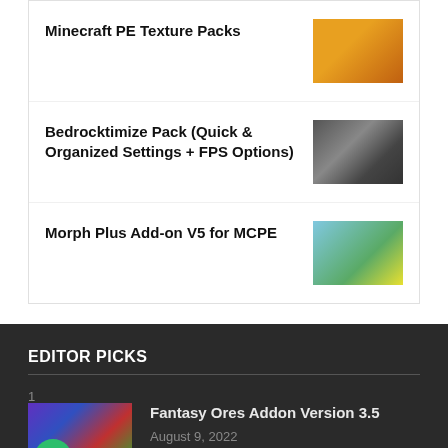Minecraft PE Texture Packs
Bedrocktimize Pack (Quick & Organized Settings + FPS Options)
Morph Plus Add-on V5 for MCPE
EDITOR PICKS
1
[Figure (photo): Fantasy Ores Addon V3 thumbnail with colorful ore characters]
Fantasy Ores Addon Version 3.5
August 9, 2022